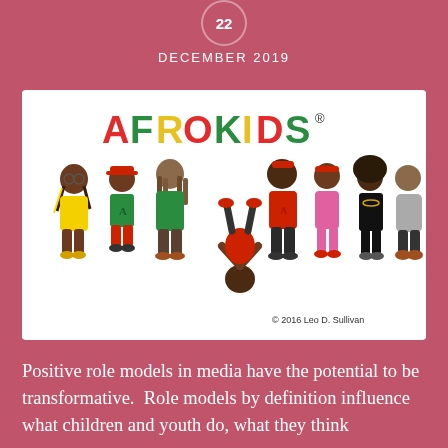22
DECEMBER 2019
[Figure (illustration): AFROKIDS cartoon illustration showing 7 diverse animated children characters in colorful clothing. The logo 'AFROKIDS' is displayed at the top in red, green, and yellow lettering. Copyright notice reads '© 2016 Leo D. Sullivan'.]
Positive role models in media have the potential to be transformative.  Role models by definition influence what children and youth do, what they think